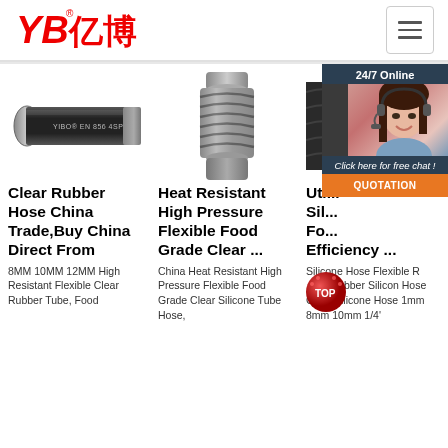[Figure (logo): YB亿博 company logo in red italic font with registered trademark symbol]
[Figure (other): Hamburger menu button icon]
[Figure (photo): Black rubber hose labeled YIBO EN 856 4SP]
[Figure (photo): Heat resistant high pressure flexible metal hose fitting, close-up view showing spiral wire reinforcement]
[Figure (photo): 24/7 Online customer service agent with headset, chat widget overlay with Click here for free chat and QUOTATION button]
Clear Rubber Hose China Trade,Buy China Direct From
8MM 10MM 12MM High Resistant Flexible Clear Rubber Tube, Food
Heat Resistant High Pressure Flexible Food Grade Clear ...
China Heat Resistant High Pressure Flexible Food Grade Clear Silicone Tube Hose,
Uti... Sil... Fo... Sil... Efficiency ...
Silicone Hose Flexible Rubber Silicon Hose Clear Silicone Hose 1mm 8mm 10mm 1/4'